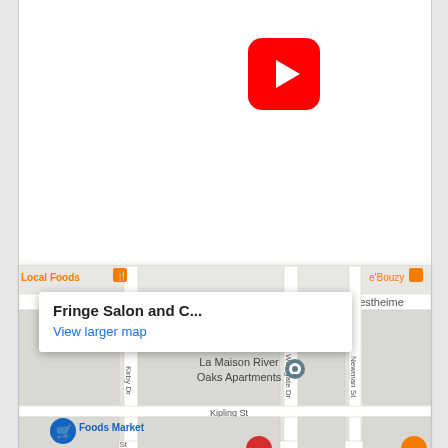[Figure (logo): YouTube app icon - red rounded square with white play button]
[Figure (logo): Twitter app icon - blue rounded square with white bird]
[Figure (map): Google Maps embed showing Fringe Salon and C... location near Westheimer, Houston. Shows streets: Kirby Dr, Kipling St, Westgate Dr, Newman St. Landmarks: La Maison River Oaks Apartments, Foods Market, Pondicheri. Info popup showing 'Fringe Salon and C...' with 'View larger map' link.]